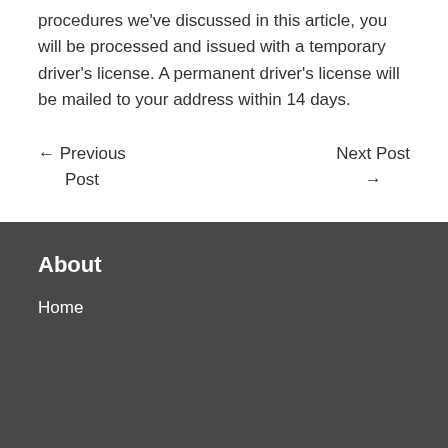procedures we've discussed in this article, you will be processed and issued with a temporary driver's license. A permanent driver's license will be mailed to your address within 14 days.
← Previous Post
Next Post →
About
Home